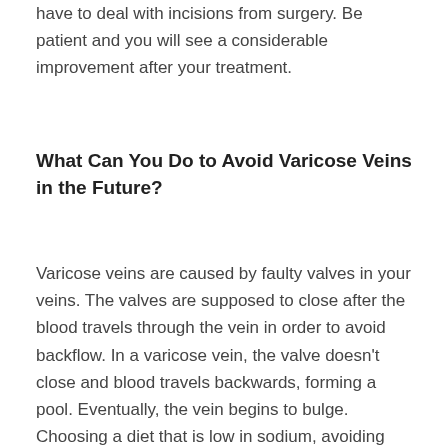have to deal with incisions from surgery. Be patient and you will see a considerable improvement after your treatment.
What Can You Do to Avoid Varicose Veins in the Future?
Varicose veins are caused by faulty valves in your veins. The valves are supposed to close after the blood travels through the vein in order to avoid backflow. In a varicose vein, the valve doesn't close and blood travels backwards, forming a pool. Eventually, the vein begins to bulge. Choosing a diet that is low in sodium, avoiding smoking and getting regular exercise can strengthen your legs. Stronger legs will mean stronger veins. As you improve your circulation, you will be able to